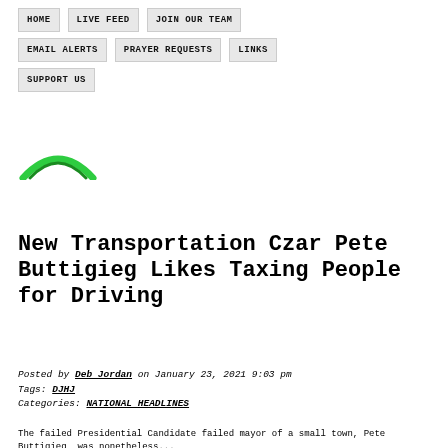HOME | LIVE FEED | JOIN OUR TEAM | EMAIL ALERTS | PRAYER REQUESTS | LINKS | SUPPORT US
[Figure (logo): Green arc/logo graphic partial]
New Transportation Czar Pete Buttigieg Likes Taxing People for Driving
Posted by Deb Jordan on January 23, 2021 9:03 pm
Tags: DJHJ
Categories: NATIONAL HEADLINES
The failed Presidential Candidate failed mayor of a small town, Pete Buttigieg, was nonetheless...